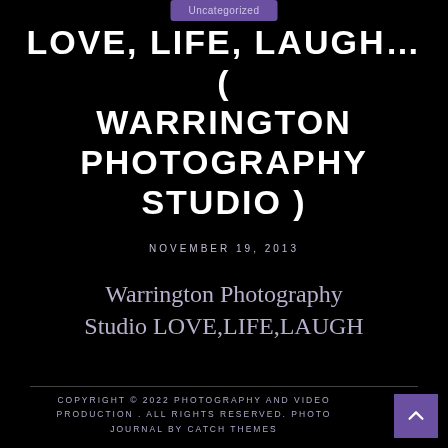Uncategorized
LOVE, LIFE, LAUGH… ( WARRINGTON PHOTOGRAPHY STUDIO )
NOVEMBER 19, 2013
Warrington Photography Studio LOVE,LIFE,LAUGH
COPYRIGHT © 2022 PHOTOGRAPHY AND VIDEO PRODUCTION . ALL RIGHTS RESERVED. PHOTO JOURNAL BY CATCH THEMES